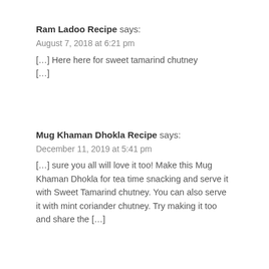Ram Ladoo Recipe says:
August 7, 2018 at 6:21 pm
[…] Here here for sweet tamarind chutney […]
Mug Khaman Dhokla Recipe says:
December 11, 2019 at 5:41 pm
[…] sure you all will love it too! Make this Mug Khaman Dhokla for tea time snacking and serve it with Sweet Tamarind chutney. You can also serve it with mint coriander chutney. Try making it too and share the […]